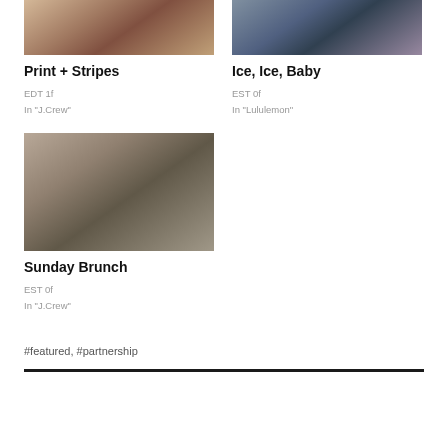[Figure (photo): Fashion photo of a woman in a summer dress near a brick doorway]
[Figure (photo): Fashion photo of a person in dark athletic wear near a brick wall]
Print + Stripes
Ice, Ice, Baby
EDT 1f
In "J.Crew"
EST 0f
In "Lululemon"
[Figure (photo): Fashion photo of a woman in business casual outfit on city steps]
Sunday Brunch
EST 0f
In "J.Crew"
#featured, #partnership